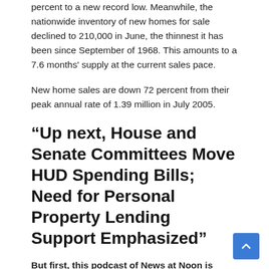percent to a new record low. Meanwhile, the nationwide inventory of new homes for sale declined to 210,000 in June, the thinnest it has been since September of 1968. This amounts to a 7.6 months' supply at the current sales pace.
New home sales are down 72 percent from their peak annual rate of 1.39 million in July 2005.
“Up next, House and Senate Committees Move HUD Spending Bills; Need for Personal Property Lending Support Emphasized”
But first, this podcast of News at Noon is sponsored in part by: LifeStylist.com – Lifestyle Driven Designs by Lifestylist® Suzanne Felber. Furniture, Decors and Model Homes designed for your budgets and your customers’ lifestyles.